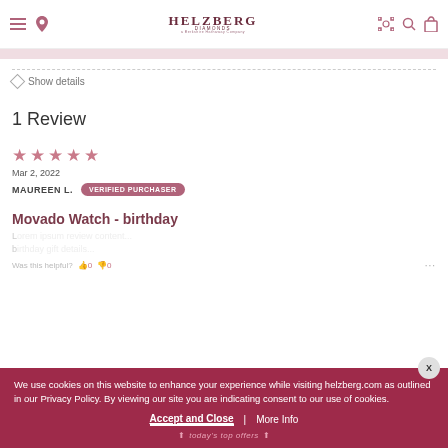HELZBERG DIAMONDS
Show details
1 Review
Mar 2, 2022
MAUREEN L. VERIFIED PURCHASER
Movado Watch - birthday
Was this helpful?
We use cookies on this website to enhance your experience while visiting helzberg.com as outlined in our Privacy Policy. By viewing our site you are indicating consent to our use of cookies.
Accept and Close | More Info
today's top offers